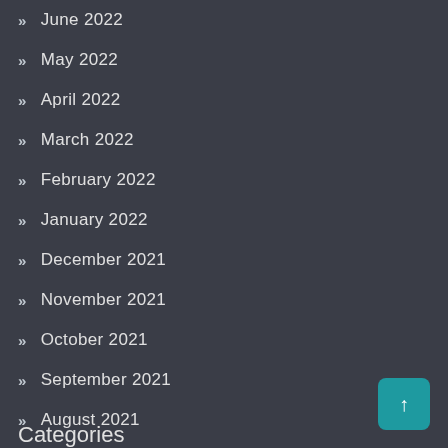» June 2022
» May 2022
» April 2022
» March 2022
» February 2022
» January 2022
» December 2021
» November 2021
» October 2021
» September 2021
» August 2021
Categories